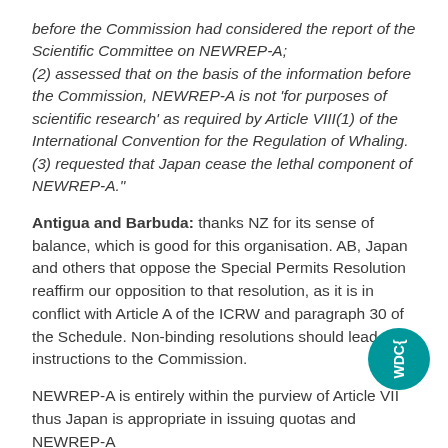before the Commission had considered the report of the Scientific Committee on NEWREP-A; (2) assessed that on the basis of the information before the Commission, NEWREP-A is not 'for purposes of scientific research' as required by Article VIII(1) of the International Convention for the Regulation of Whaling. (3) requested that Japan cease the lethal component of NEWREP-A."
Antigua and Barbuda: thanks NZ for its sense of balance, which is good for this organisation. AB, Japan and others that oppose the Special Permits Resolution reaffirm our opposition to that resolution, as it is in conflict with Article A of the ICRW and paragraph 30 of the Schedule. Non-binding resolutions should lead to instructions to the Commission.
NEWREP-A is entirely within the purview of Article VIII thus Japan is appropriate in issuing quotas and NEWREP-A